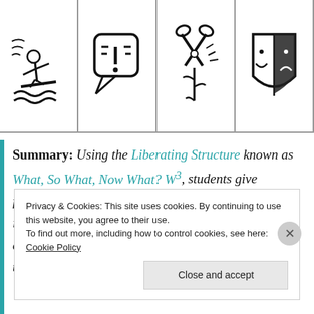[Figure (illustration): Row of five icon cells separated by vertical lines: (1) person surfing on waves, (2) speech bubble with exclamation point and lines, (3) scissors with motion lines, (4) theater mask shield, (5) partial dark circle icon. Horizontal border below icons.]
Summary: Using the Liberating Structure known as What, So What, Now What? W³, students give feedback to an instructor in term so how the learning is progressing in the classroom. As well, student get a chance to reflect on and evaluate the effectiveness of the teachers instructional strategies.
Privacy & Cookies: This site uses cookies. By continuing to use this website, you agree to their use.
To find out more, including how to control cookies, see here: Cookie Policy
[Close and accept]